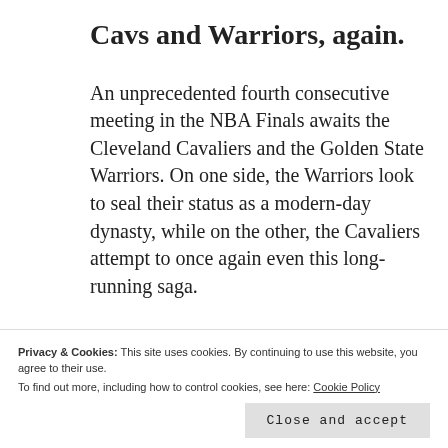Cavs and Warriors, again.
An unprecedented fourth consecutive meeting in the NBA Finals awaits the Cleveland Cavaliers and the Golden State Warriors. On one side, the Warriors look to seal their status as a modern-day dynasty, while on the other, the Cavaliers attempt to once again even this long-running saga.
Privacy & Cookies: This site uses cookies. By continuing to use this website, you agree to their use. To find out more, including how to control cookies, see here: Cookie Policy
following ways to experience the